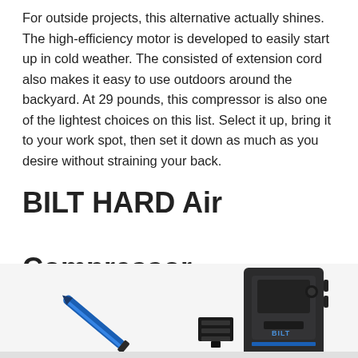For outside projects, this alternative actually shines. The high-efficiency motor is developed to easily start up in cold weather. The consisted of extension cord also makes it easy to use outdoors around the backyard. At 29 pounds, this compressor is also one of the lightest choices on this list. Select it up, bring it to your work spot, then set it down as much as you desire without straining your back.
BILT HARD Air Compressor
[Figure (photo): Partial photo of a BILT HARD Air Compressor showing a blue diagonal nozzle/hose on the left, a small black accessory widget in the center, and the dark body of the compressor unit on the right with partial text visible.]